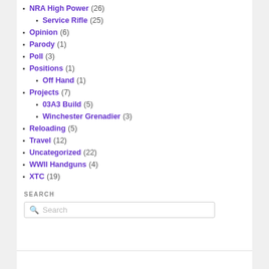NRA High Power (26)
Service Rifle (25)
Opinion (6)
Parody (1)
Poll (3)
Positions (1)
Off Hand (1)
Projects (7)
03A3 Build (5)
Winchester Grenadier (3)
Reloading (5)
Travel (12)
Uncategorized (22)
WWII Handguns (4)
XTC (19)
SEARCH
Search